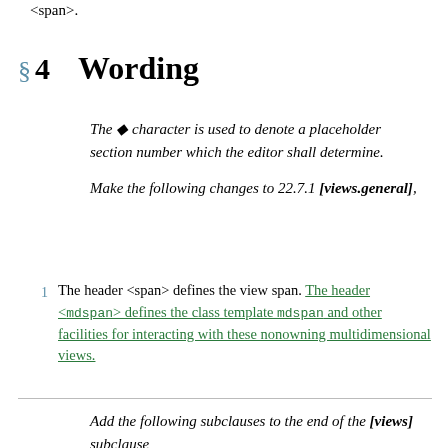<span>.
§ 4   Wording
The ◆ character is used to denote a placeholder section number which the editor shall determine.
Make the following changes to 22.7.1 [views.general],
1  The header <span> defines the view span. The header <mdspan> defines the class template mdspan and other facilities for interacting with these nonowning multidimensional views.
Add the following subclauses to the end of the [views] subclause